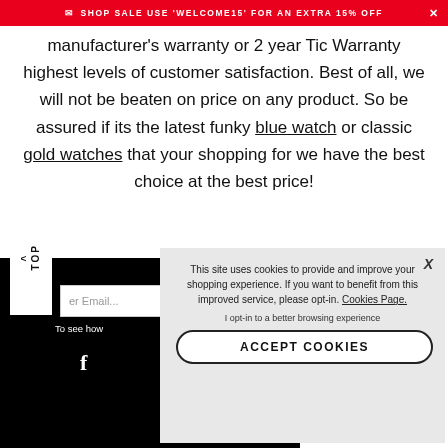SHOP SALE USE 'WELCOME15' FOR AN EXTRA 15% OFF
manufacturer's warranty or 2 year Tic Warranty highest levels of customer satisfaction. Best of all, we will not be beaten on price on any product. So be assured if its the latest funky blue watch or classic gold watches that your shopping for we have the best choice at the best price!
er Email...
To see how
f
This site uses cookies to provide and improve your shopping experience. If you want to benefit from this improved service, please opt-in. Cookies Page.
I opt-in to a better browsing experience
ACCEPT COOKIES